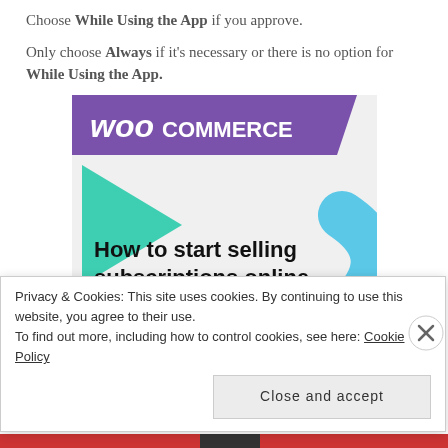Choose While Using the App if you approve.
Only choose Always if it's necessary or there is no option for While Using the App.
[Figure (illustration): WooCommerce promotional image with purple header banner showing 'WooCommerce' logo, teal and blue geometric shapes, and text 'How to start selling subscriptions online' with a purple button below.]
Privacy & Cookies: This site uses cookies. By continuing to use this website, you agree to their use.
To find out more, including how to control cookies, see here: Cookie Policy
Close and accept